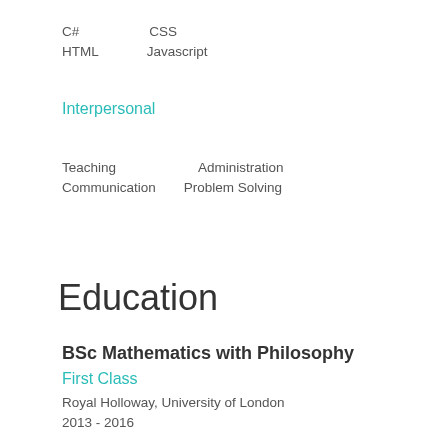C#   CSS
HTML   Javascript
Interpersonal
Teaching   Administration
Communication   Problem Solving
Education
BSc Mathematics with Philosophy
First Class
Royal Holloway, University of London
2013 - 2016